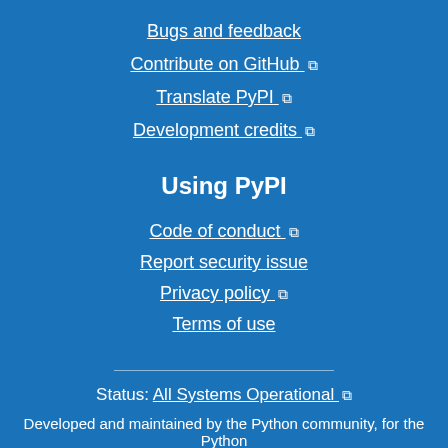Bugs and feedback
Contribute on GitHub ↗
Translate PyPI ↗
Development credits ↗
Using PyPI
Code of conduct ↗
Report security issue
Privacy policy ↗
Terms of use
Status: All Systems Operational ↗
Developed and maintained by the Python community, for the Python